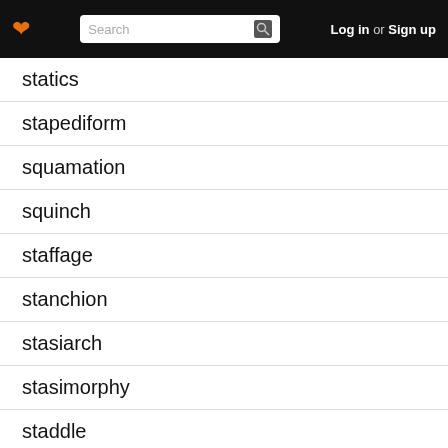Log in or Sign up
statics
stapediform
squamation
squinch
staffage
stanchion
stasiarch
stasimorphy
staddle
stagnicolous